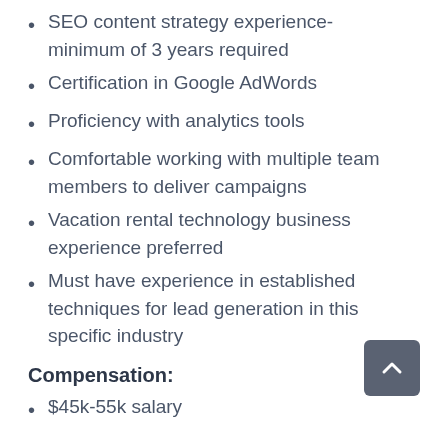SEO content strategy experience- minimum of 3 years required
Certification in Google AdWords
Proficiency with analytics tools
Comfortable working with multiple team members to deliver campaigns
Vacation rental technology business experience preferred
Must have experience in established techniques for lead generation in this specific industry
Compensation:
$45k-55k salary